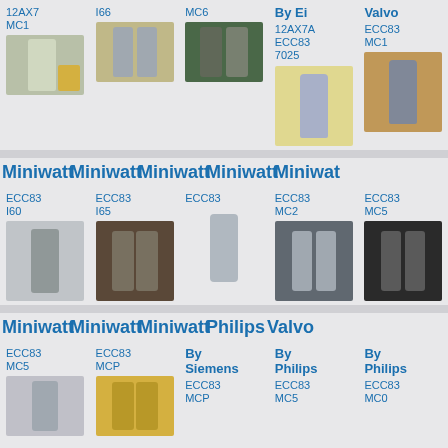12AX7 MC1
I66
MC6
By Ei
Valvo
12AX7A ECC83 7025
ECC83 MC1
Miniwatt Miniwatt Miniwatt Miniwatt Miniwatt
ECC83 I60
ECC83 I65
ECC83
ECC83 MC2
ECC83 MC5
Miniwatt Miniwatt Miniwatt Philips Valvo
ECC83 MC5
ECC83 MCP
By Siemens
By Philips
By Philips
ECC83 MCP
ECC83 MC5
ECC83 MC0